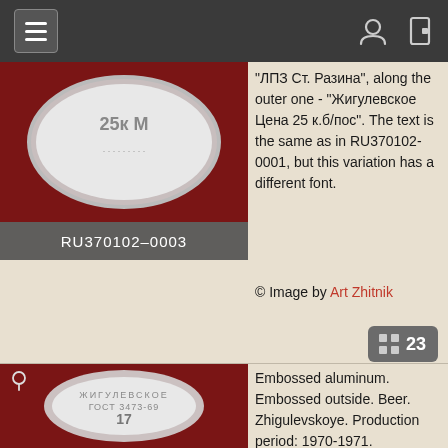Navigation header with hamburger menu and user/door icons
[Figure (photo): Embossed metal bottle cap on red background showing '25k M' text, labeled RU370102-0003]
"ЛПЗ Ст. Разина", along the outer one - "Жигулевское Цена 25 к.б/пос". The text is the same as in RU370102-0001, but this variation has a different font.
© Image by Art Zhitnik
23
[Figure (photo): Embossed aluminum bottle cap on red background showing Zhigulevskoye beer cap with Cyrillic text and number 17]
Embossed aluminum. Embossed outside. Beer. Zhigulevskoye. Production period: 1970-1971.